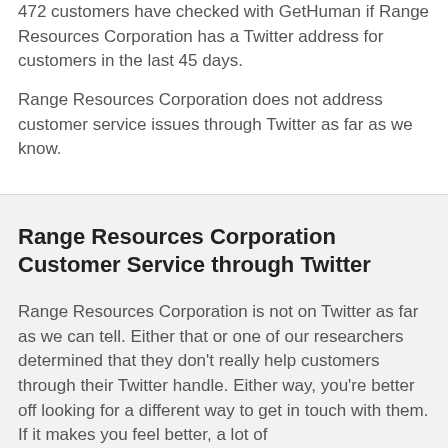472 customers have checked with GetHuman if Range Resources Corporation has a Twitter address for customers in the last 45 days.
Range Resources Corporation does not address customer service issues through Twitter as far as we know.
Range Resources Corporation Customer Service through Twitter
Range Resources Corporation is not on Twitter as far as we can tell. Either that or one of our researchers determined that they don't really help customers through their Twitter handle. Either way, you're better off looking for a different way to get in touch with them. If it makes you feel better, a lot of